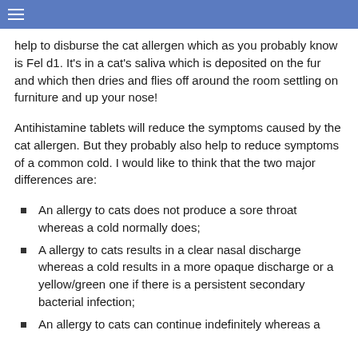help to disburse the cat allergen which as you probably know is Fel d1. It's in a cat's saliva which is deposited on the fur and which then dries and flies off around the room settling on furniture and up your nose!
Antihistamine tablets will reduce the symptoms caused by the cat allergen. But they probably also help to reduce symptoms of a common cold. I would like to think that the two major differences are:
An allergy to cats does not produce a sore throat whereas a cold normally does;
A allergy to cats results in a clear nasal discharge whereas a cold results in a more opaque discharge or a yellow/green one if there is a persistent secondary bacterial infection;
An allergy to cats can continue indefinitely whereas a